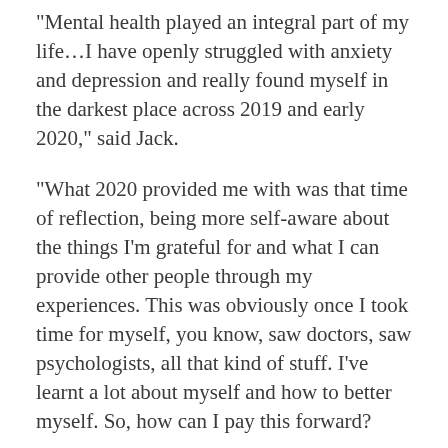“Mental health played an integral part of my life…I have openly struggled with anxiety and depression and really found myself in the darkest place across 2019 and early 2020,” said Jack.
“What 2020 provided me with was that time of reflection, being more self-aware about the things I’m grateful for and what I can provide other people through my experiences. This was obviously once I took time for myself, you know, saw doctors, saw psychologists, all that kind of stuff. I’ve learnt a lot about myself and how to better myself. So, how can I pay this forward?
“The least I can do is share the journey I’ve been